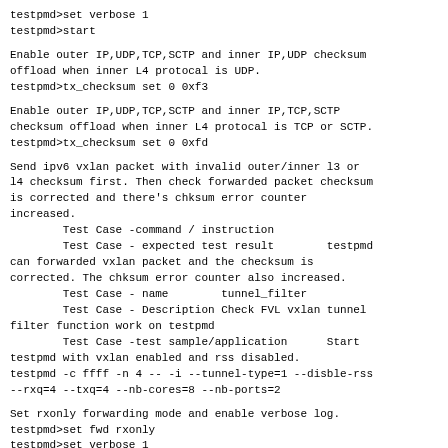testpmd>set verbose 1
testpmd>start
Enable outer IP,UDP,TCP,SCTP and inner IP,UDP checksum offload when inner L4 protocal is UDP.
testpmd>tx_checksum set 0 0xf3
Enable outer IP,UDP,TCP,SCTP and inner IP,TCP,SCTP checksum offload when inner L4 protocal is TCP or SCTP.
testpmd>tx_checksum set 0 0xfd
Send ipv6 vxlan packet with invalid outer/inner l3 or l4 checksum first. Then check forwarded packet checksum is corrected and there's chksum error counter increased.
        Test Case -command / instruction
        Test Case - expected test result        testpmd can forwarded vxlan packet and the checksum is corrected. The chksum error counter also increased.
        Test Case - name        tunnel_filter
        Test Case - Description Check FVL vxlan tunnel filter function work on testpmd
        Test Case -test sample/application      Start testpmd with vxlan enabled and rss disabled.
testpmd -c ffff -n 4 -- -i --tunnel-type=1 --disble-rss --rxq=4 --txq=4 --nb-cores=8 --nb-ports=2
Set rxonly forwarding mode and enable verbose log.
testpmd>set fwd rxonly
testpmd>set verbose 1